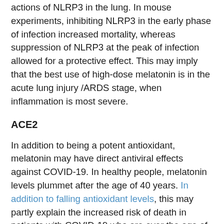actions of NLRP3 in the lung. In mouse experiments, inhibiting NLRP3 in the early phase of infection increased mortality, whereas suppression of NLRP3 at the peak of infection allowed for a protective effect. This may imply that the best use of high-dose melatonin is in the acute lung injury /ARDS stage, when inflammation is most severe.
ACE2
In addition to being a potent antioxidant, melatonin may have direct antiviral effects against COVID-19. In healthy people, melatonin levels plummet after the age of 40 years. In addition to falling antioxidant levels, this may partly explain the increased risk of death in patients with COVID-19 who are over the age of 40.
Melatonin indirectly regulates ACE2 expression, a key entry receptor involved in viral infection of human coronaviruses, including 2019-nCoV/SARS-CoV-2.Specifically, melatonin was reported to inhibit a calcium-binding protein (calmodulin) which interacts with ACE2 by inhibiting shedding of its ectodomain (the